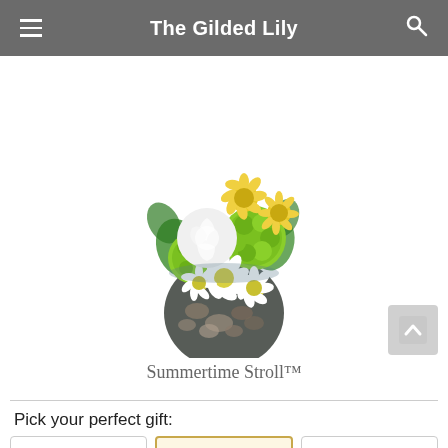The Gilded Lily
[Figure (photo): A floral arrangement called Summertime Stroll in a round glass vase filled with decorative pebbles, featuring white roses, white daisies, green chrysanthemums, and yellow flowers on a white background.]
Summertime Stroll™
Pick your perfect gift: